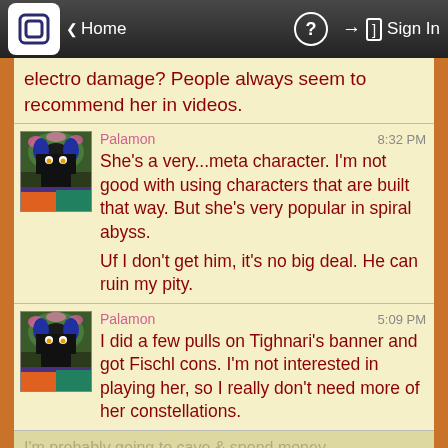Home  ?  Sign In
electro damage? People always seem to recommend her in videos.
Palamon  8:32 PM
She's a very...meta character. I'm not good with using characters that are built that way. But she's very popular in spiral abyss.

Uf I don't get him, it's no big deal. He can ruin my pity.
Palamon  5:09 PM
I did a few pulls on Tighnari's banner and got Fischl cons. I'm not interested in playing her, so I really don't need more of her constellations.
I'm probably going to cave & spend money